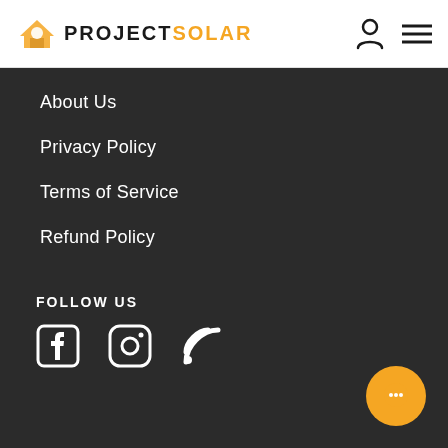[Figure (logo): Project Solar logo with orange house/sun icon and text PROJECTSOLAR in black and orange]
[Figure (other): User account icon (person silhouette) and hamburger menu icon in header]
About Us
Privacy Policy
Terms of Service
Refund Policy
FOLLOW US
[Figure (other): Facebook icon, Instagram icon, and RSS/feed icon in white]
[Figure (other): Orange chat/message floating action button]